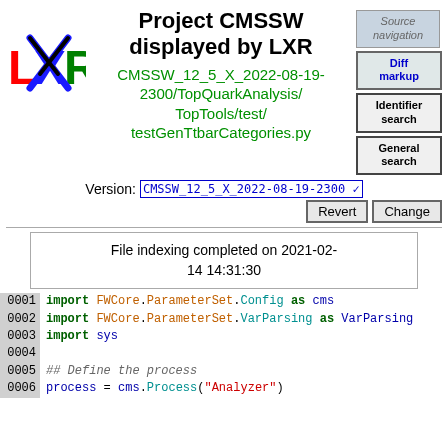Project CMSSW displayed by LXR
CMSSW_12_5_X_2022-08-19-2300/TopQuarkAnalysis/TopTools/test/testGenTtbarCategories.py
Source navigation
Diff markup
Identifier search
General search
Version: CMSSW_12_5_X_2022-08-19-2300
File indexing completed on 2021-02-14 14:31:30
0001 import FWCore.ParameterSet.Config as cms
0002 import FWCore.ParameterSet.VarParsing as VarParsing
0003 import sys
0004
0005 ## Define the process
0006 process = cms.Process("Analyzer")